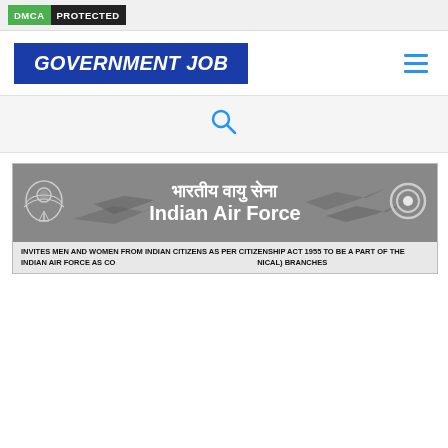DMCA PROTECTED
[Figure (logo): Government Job website logo with blue background and white italic bold text reading GOVERNMENT JOB]
[Figure (other): Hamburger menu icon with three blue horizontal lines]
[Figure (other): Search icon (magnifying glass) in blue]
[Figure (other): Indian Air Force recruitment banner in grayscale showing aircraft, emblem, Hindi text 'भारतीय वायु सेना', English text 'Indian Air Force', and partial recruitment text: INVITES MEN AND WOMEN FROM INDIAN CITIZENS AS PER CITIZENSHIP ACT 1955 TO BE A PART OF THE INDIAN AIR FORCE AS CO... NICAL) BRANCHES]